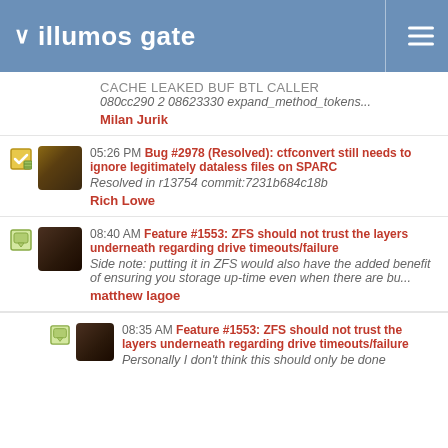illumos gate
CACHE LEAKED BUF BTL CALLER
080cc290 2 08623330 expand_method_tokens...
Milan Jurik
05:26 PM Bug #2978 (Resolved): ctfconvert still needs to ignore legitimately dataless files on SPARC
Resolved in r13754 commit:7231b684c18b
Rich Lowe
08:40 AM Feature #1553: ZFS should not trust the layers underneath regarding drive timeouts/failure
Side note: putting it in ZFS would also have the added benefit of ensuring you storage up-time even when there are bu...
matthew lagoe
08:35 AM Feature #1553: ZFS should not trust the layers underneath regarding drive timeouts/failure
Personally I don't think this should only be done at the...